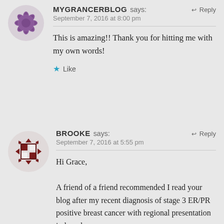[Figure (illustration): Purple decorative avatar icon with floral/geometric pattern for user MYGRANCERBLOG]
MYGRANCERBLOG says:  ↩ Reply
September 7, 2016 at 8:00 pm
This is amazing!! Thank you for hitting me with my own words!
★ Like
[Figure (illustration): Dark red/maroon geometric checkerboard pattern avatar icon for user BROOKE]
BROOKE says:  ↩ Reply
September 7, 2016 at 5:55 pm
Hi Grace,

A friend of a friend recommended I read your blog after my recent diagnosis of stage 3 ER/PR positive breast cancer with regional presentation in lymph on